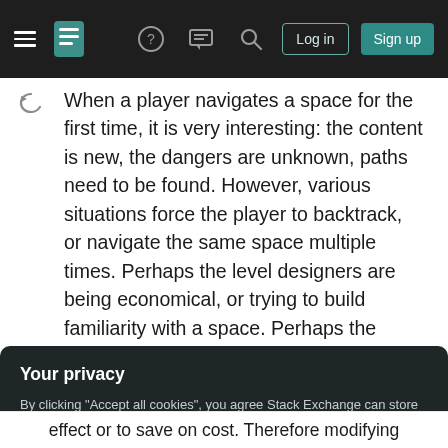Stack Exchange navigation bar with hamburger menu, logo, help, chat, search icons, Log in and Sign up buttons
When a player navigates a space for the first time, it is very interesting: the content is new, the dangers are unknown, paths need to be found. However, various situations force the player to backtrack, or navigate the same space multiple times. Perhaps the level designers are being economical, or trying to build familiarity with a space. Perhaps the game itself is open-ended, or like a sandbox, where navigating the same spaces is part of the game itself. These can make the same spaces seem tedious and sparse.
Your privacy
By clicking "Accept all cookies", you agree Stack Exchange can store cookies on your device and disclose information in accordance with our Cookie Policy.
Accept all cookies   Customize settings
effect or to save on cost. Therefore modifying